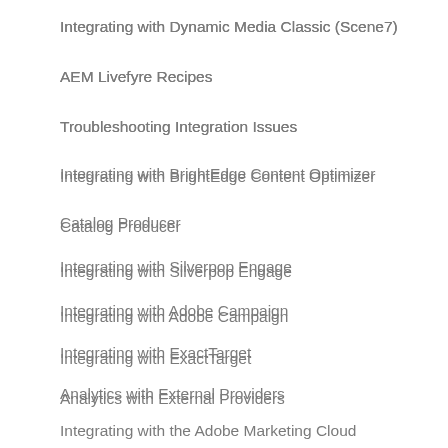Integrating with Dynamic Media Classic (Scene7)
AEM Livefyre Recipes
Troubleshooting Integration Issues
Integrating with BrightEdge Content Optimizer
Catalog Producer
Integrating with Silverpop Engage
Integrating with Adobe Campaign
Integrating with ExactTarget
Analytics with External Providers
Integrating with the Adobe Marketing Cloud
Manually Configuring the Integration with Adobe